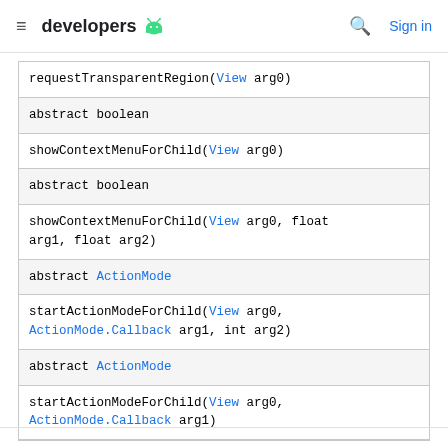≡ developers 🤖  🔍 Sign in
| requestTransparentRegion(View arg0) |
| abstract boolean |
| showContextMenuForChild(View arg0) |
| abstract boolean |
| showContextMenuForChild(View arg0, float arg1, float arg2) |
| abstract ActionMode |
| startActionModeForChild(View arg0, ActionMode.Callback arg1, int arg2) |
| abstract ActionMode |
| startActionModeForChild(View arg0, ActionMode.Callback arg1) |